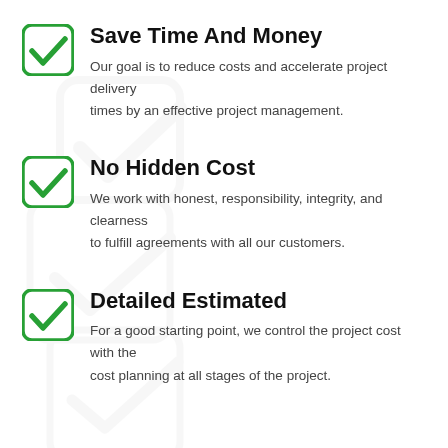Save Time And Money
Our goal is to reduce costs and accelerate project delivery times by an effective project management.
No Hidden Cost
We work with honest, responsibility, integrity, and clearness to fulfill agreements with all our customers.
Detailed Estimated
For a good starting point, we control the project cost with the cost planning at all stages of the project.